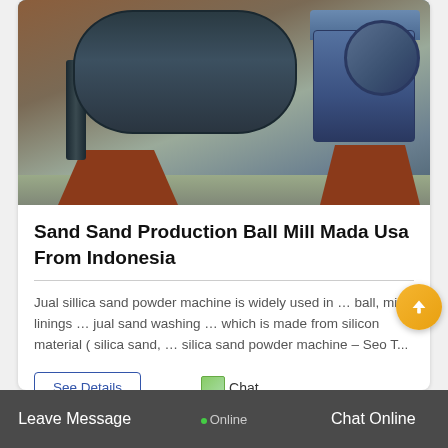[Figure (photo): Industrial ball mill machinery on red steel support frame in a factory/warehouse setting]
Sand Sand Production Ball Mill Mada Usa From Indonesia
Jual sillica sand powder machine is widely used in … ball, mill linings … jual sand washing … which is made from silicon material ( silica sand, … silica sand powder machine – Seo T...
See Details
Chat
Leave Message   Online   Chat Online